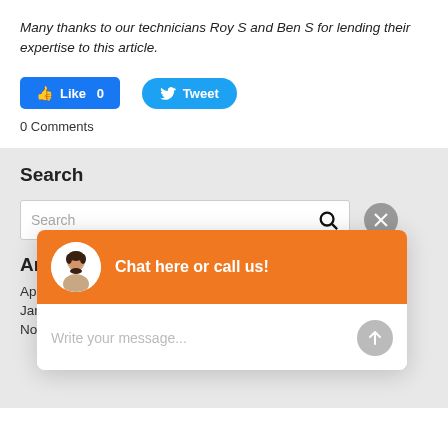Many thanks to our technicians Roy S and Ben S for lending their expertise to this article.
[Figure (screenshot): Facebook Like button (blue, count 0) and Twitter Tweet button (blue rounded)]
0 Comments
Search
[Figure (screenshot): Search input box with magnifying glass icon and gray close (X) button]
Archives
April
Janu
November 2021
[Figure (screenshot): Chat popup widget: orange header with avatar and 'Chat here or call us!' text, white body with 'Write your message...' placeholder and gray send button]